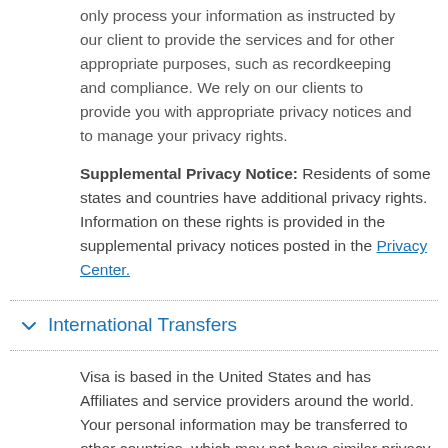only process your information as instructed by our client to provide the services and for other appropriate purposes, such as recordkeeping and compliance. We rely on our clients to provide you with appropriate privacy notices and to manage your privacy rights.
Supplemental Privacy Notice: Residents of some states and countries have additional privacy rights. Information on these rights is provided in the supplemental privacy notices posted in the Privacy Center.
International Transfers
Visa is based in the United States and has Affiliates and service providers around the world. Your personal information may be transferred to other countries, which may not have similar privacy or data protection laws. However, we will always protect your